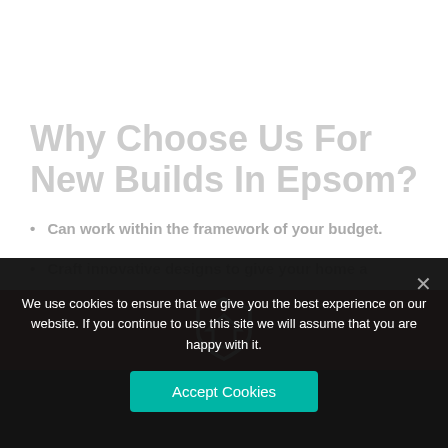Why Choose Us For New Builds In Epsom?
Can work within the framework of your budget.
Craft innovative designs to give your home a
[Figure (illustration): White house/shield icon outline on dark red background]
We use cookies to ensure that we give you the best experience on our website. If you continue to use this site we will assume that you are happy with it.
Accept Cookies